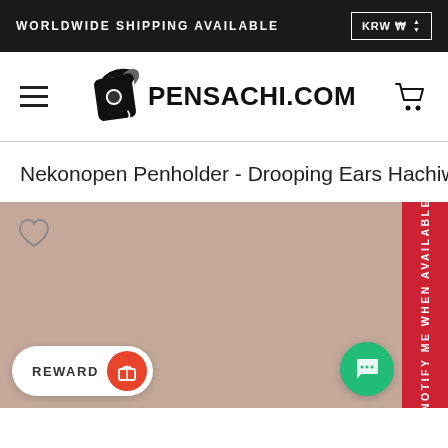WORLDWIDE SHIPPING AVAILABLE   KRW ₩
[Figure (logo): Pensachi.com logo with hamburger menu and shopping cart icons]
Nekonopen Penholder - Drooping Ears Hachiwa
[Figure (photo): Product image area with mauve/tan background, heart/wishlist icon, red NOTIFY ME WHEN AVAILABLE sidebar, REWARD button and chat button]
NOTIFY ME WHEN AVAILABLE
REWARD